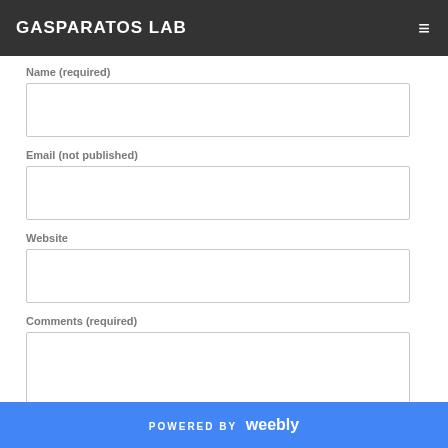GASPARATOS LAB
Name (required)
Email (not published)
Website
Comments (required)
POWERED BY weebly